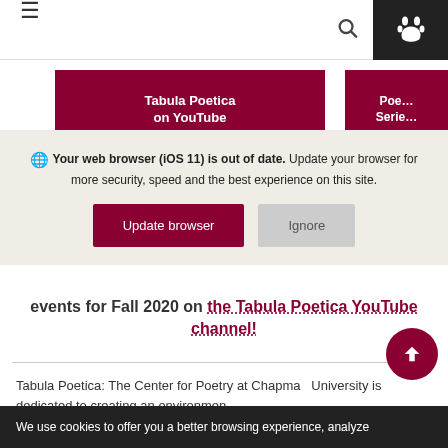Navigation bar with hamburger menu, search icon, and paw icon
[Figure (screenshot): Two partially visible dark red buttons: 'Tabula Poetica on YouTube' and 'Poet... Serie...']
🌐 Your web browser (iOS 11) is out of date. Update your browser for more security, speed and the best experience on this site.
Update browser | Ignore
events for Fall 2020 on the Tabula Poetica YouTube channel!
Tabula Poetica: The Center for Poetry at Chapman University is dedicated to creating an environment
We use cookies to offer you a better browsing experience, analyze